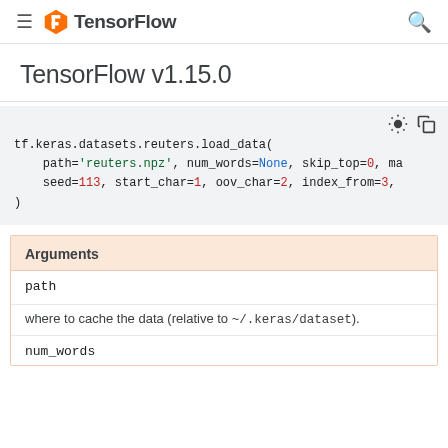TensorFlow
TensorFlow v1.15.0
[Figure (screenshot): Code block showing tf.keras.datasets.reuters.load_data( path='reuters.npz', num_words=None, skip_top=0, ma... seed=113, start_char=1, oov_char=2, index_from=3, )]
| Argument | Description |
| --- | --- |
| path | where to cache the data (relative to ~/.keras/dataset). |
| num_words |  |